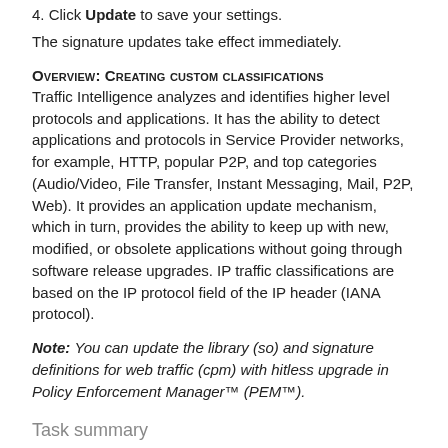4. Click Update to save your settings.
The signature updates take effect immediately.
Overview: Creating custom classifications
Traffic Intelligence analyzes and identifies higher level protocols and applications. It has the ability to detect applications and protocols in Service Provider networks, for example, HTTP, popular P2P, and top categories (Audio/Video, File Transfer, Instant Messaging, Mail, P2P, Web). It provides an application update mechanism, which in turn, provides the ability to keep up with new, modified, or obsolete applications without going through software release upgrades. IP traffic classifications are based on the IP protocol field of the IP header (IANA protocol).
Note: You can update the library (so) and signature definitions for web traffic (cpm) with hitless upgrade in Policy Enforcement Manager™ (PEM™).
Task summary
Determining and adjusting traffic classifications